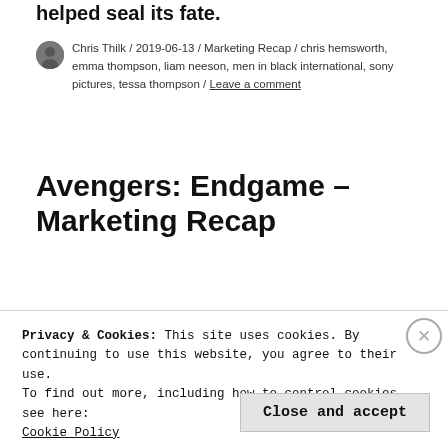helped seal its fate.
Chris Thilk / 2019-06-13 / Marketing Recap / chris hemsworth, emma thompson, liam neeson, men in black international, sony pictures, tessa thompson / Leave a comment
Avengers: Endgame – Marketing Recap
[Figure (photo): Partial view of a dark cinematic movie still, likely from Avengers: Endgame]
Privacy & Cookies: This site uses cookies. By continuing to use this website, you agree to their use.
To find out more, including how to control cookies, see here: Cookie Policy
Close and accept